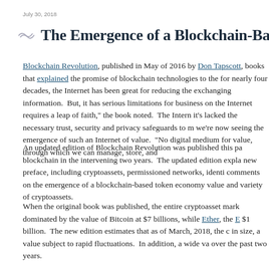July 30, 2018
The Emergence of a Blockchain-Based Tok
Blockchain Revolution, published in May of 2016 by Don Tapscott, books that explained the promise of blockchain technologies to the for nearly four decades, the Internet has been great for reducing the exchanging information.  But, it has serious limitations for business on the Internet requires a leap of faith,” the book noted.  The Intern it’s lacked the necessary trust, security and privacy safeguards to m we’re now seeing the emergence of such an Internet of value.  “No digital medium for value, through which we can manage, store, and
An updated edition of Blockchain Revolution was published this pa blockchain in the intervening two years.  The updated edition expla new preface, including cryptoassets, permissioned networks, identi comments on the emergence of a blockchain-based token economy value and variety of cryptoassets.
When the original book was published, the entire cryptoasset mark dominated by the value of Bitcoin at $7 billions, while Ether, the E $1 billion.  The new edition estimates that as of March, 2018, the c in size, a value subject to rapid fluctuations.  In addition, a wide va over the past two years.